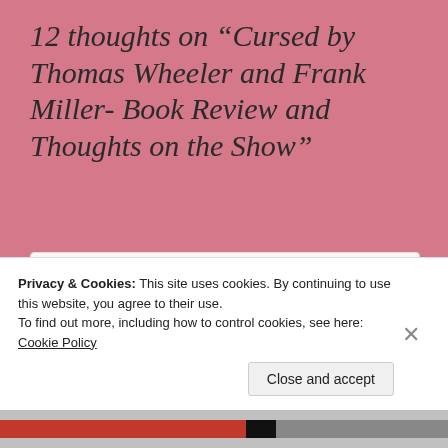12 thoughts on “Cursed by Thomas Wheeler and Frank Miller- Book Review and Thoughts on the Show”
Kitty Marie’s Book Reviews Blog
June 28, 2020 at 12:32 am
Privacy & Cookies: This site uses cookies. By continuing to use this website, you agree to their use.
To find out more, including how to control cookies, see here: Cookie Policy
Close and accept